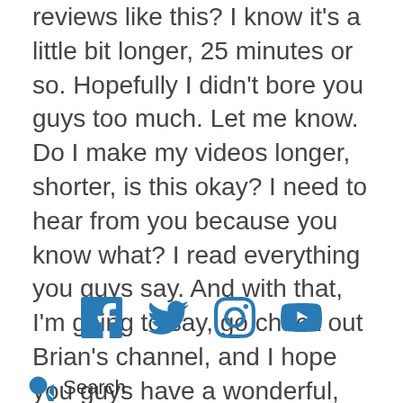reviews like this? I know it's a little bit longer, 25 minutes or so. Hopefully I didn't bore you guys too much. Let me know. Do I make my videos longer, shorter, is this okay? I need to hear from you because you know what? I read everything you guys say. And with that, I'm going to say, go check out Brian's channel, and I hope you guys have a wonderful, awesome day. God bless you guys. Go get them.
[Figure (infographic): Social media icons: Facebook, Twitter, Instagram, YouTube]
Search